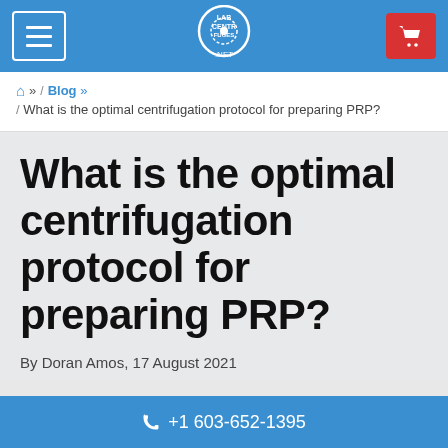Lab Centrifuges .NET — navigation header with hamburger menu, logo, and cart button
🏠 » / Blog » / What is the optimal centrifugation protocol for preparing PRP?
What is the optimal centrifugation protocol for preparing PRP?
By Doran Amos, 17 August 2021
+1 603-652-1395